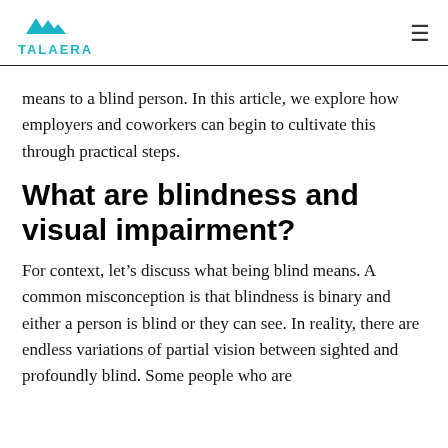TALAERA
means to a blind person. In this article, we explore how employers and coworkers can begin to cultivate this through practical steps.
What are blindness and visual impairment?
For context, let’s discuss what being blind means. A common misconception is that blindness is binary and either a person is blind or they can see. In reality, there are endless variations of partial vision between sighted and profoundly blind. Some people who are